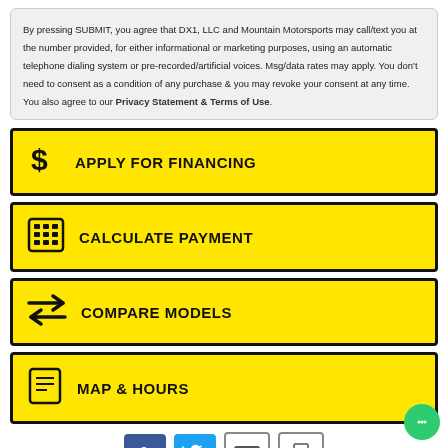By pressing SUBMIT, you agree that DX1, LLC and Mountain Motorsports may call/text you at the number provided, for either informational or marketing purposes, using an automatic telephone dialing system or pre-recorded/artificial voices. Msg/data rates may apply. You don't need to consent as a condition of any purchase & you may revoke your consent at any time. You also agree to our Privacy Statement & Terms of Use.
APPLY FOR FINANCING
CALCULATE PAYMENT
COMPARE MODELS
MAP & HOURS
[Figure (infographic): Social share icons row: Facebook, Twitter, Email, Print]